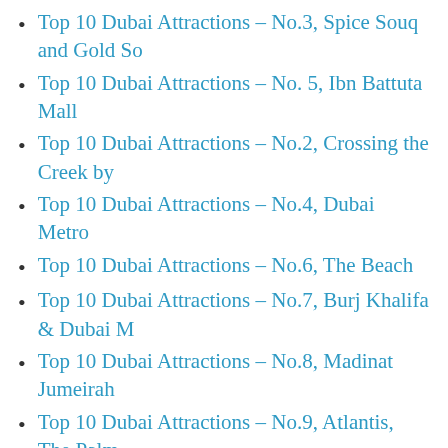Top 10 Dubai Attractions – No.3, Spice Souq and Gold So
Top 10 Dubai Attractions – No. 5, Ibn Battuta Mall
Top 10 Dubai Attractions – No.2, Crossing the Creek by
Top 10 Dubai Attractions – No.4, Dubai Metro
Top 10 Dubai Attractions – No.6, The Beach
Top 10 Dubai Attractions – No.7, Burj Khalifa & Dubai M
Top 10 Dubai Attractions – No.8, Madinat Jumeirah
Top 10 Dubai Attractions – No.9, Atlantis, The Palm
Top 10 Dubai Attractions–No.10, Mall of the